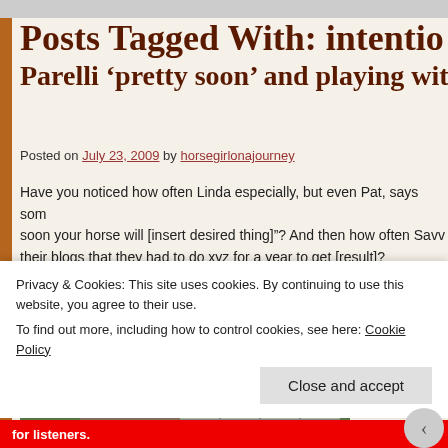Posts Tagged With: intentio
Parelli ‘pretty soon’ and playing with
Posted on July 23, 2009 by horsegirlonajourney
Have you noticed how often Linda especially, but even Pat, says som soon your horse will [insert desired thing]”? And then how often Savv their blogs that they had to do xyz for a year to get [result]?
[Figure (photo): Outdoor photo of a farm or stable area with trees, a house-like structure, fencing, and a vehicle in the background.]
I’ve thought fo verbal habit fo aware that she encourageme
Privacy & Cookies: This site uses cookies. By continuing to use this website, you agree to their use. To find out more, including how to control cookies, see here: Cookie Policy
Close and accept
for listeners.